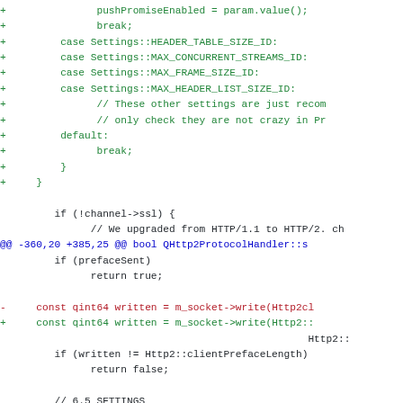Code diff showing changes to QHttp2ProtocolHandler with added cases for Settings constants and modifications to socket write and frame writer calls.